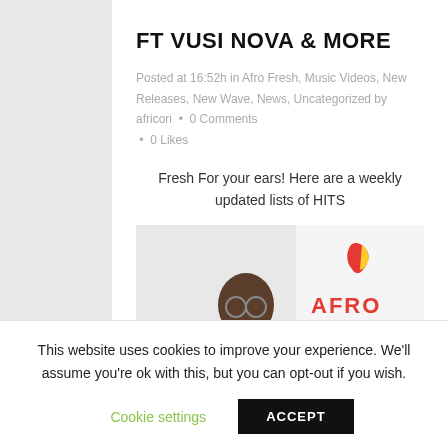FT VUSI NOVA & MORE
Posted at 16:52h in Afro Fresh, Music Videos, New Releases, New Wave, News, Uncategorized by africori  •  0 Comments  •  0 Likes
Fresh For your ears! Here are a weekly updated lists of HITS
[Figure (photo): Afro Fresh promotional image showing a person with sunglasses and the Afro Fresh logo with an Africa continent icon in red and yellow]
This website uses cookies to improve your experience. We'll assume you're ok with this, but you can opt-out if you wish.
Cookie settings   ACCEPT